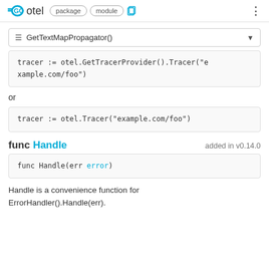GO otel package module
≡ GetTextMapPropagator()
tracer := otel.GetTracerProvider().Tracer("example.com/foo")
or
tracer := otel.Tracer("example.com/foo")
func Handle  added in v0.14.0
func Handle(err error)
Handle is a convenience function for ErrorHandler().Handle(err).